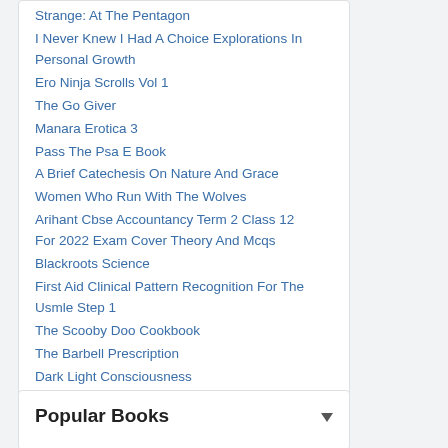I Never Knew I Had A Choice Explorations In Personal Growth
Ero Ninja Scrolls Vol 1
The Go Giver
Manara Erotica 3
Pass The Psa E Book
A Brief Catechesis On Nature And Grace
Women Who Run With The Wolves
Arihant Cbse Accountancy Term 2 Class 12 For 2022 Exam Cover Theory And Mcqs
Blackroots Science
First Aid Clinical Pattern Recognition For The Usmle Step 1
The Scooby Doo Cookbook
The Barbell Prescription
Dark Light Consciousness
Popular Books